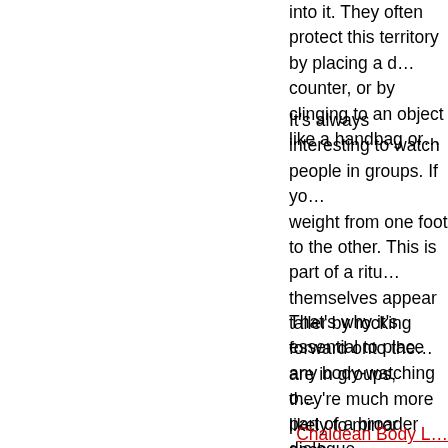into it. They often protect this territory by placing a d... counter, or by clinging to an object like a handbag or...
It's always interesting to watch people in groups. If yo... weight from one foot to the other. This is part of a ritu... themselves appear taller by rocking forward onto the... are in groups, they're much more likely to mirror each...
That's why it's essential to place any body-watching o... part of a broader dialogue.
Chaldean Body L...
Combining the ability to identify body language clues... leads to better understanding Chaldeans. Much has b... provides. However, little has been written regarding th...
For example, someone sitting in a meeting with his or... disapproval, but the person also could simply be shy,... uncomfortably or feels they don't belong – a way of s... to conclusions about how someone feels without mo...
Another example of how culture or context can influe... getting angry. Many would say when a person speaks...
Chaldeans tend to speak louder than most. This is be... gatherings. This requires Chaldeans to speak loudly,...